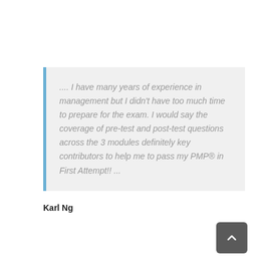.... I have many years of experience in management but I didn't have too much time to prepare for the exam. I would say the coverage of pre-test and post-test questions across the 3 modules definitely key contributors to help me to pass my PMP® in First Attempt!! ...
Karl Ng